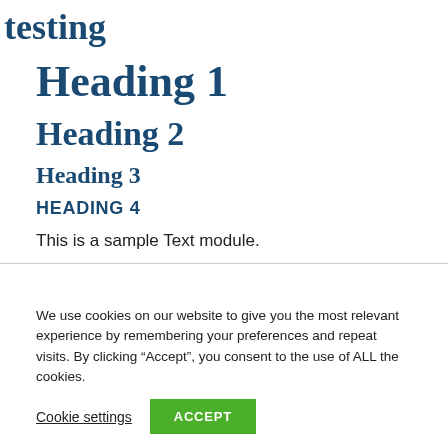testing
Heading 1
Heading 2
Heading 3
HEADING 4
This is a sample Text module.
We use cookies on our website to give you the most relevant experience by remembering your preferences and repeat visits. By clicking “Accept”, you consent to the use of ALL the cookies.
Cookie settings  ACCEPT